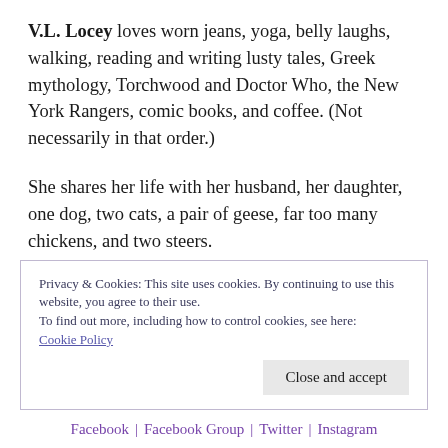V.L. Locey loves worn jeans, yoga, belly laughs, walking, reading and writing lusty tales, Greek mythology, Torchwood and Doctor Who, the New York Rangers, comic books, and coffee. (Not necessarily in that order.)
She shares her life with her husband, her daughter, one dog, two cats, a pair of geese, far too many chickens, and two steers.
When not writing spicy romances, she enjoys
Privacy & Cookies: This site uses cookies. By continuing to use this website, you agree to their use.
To find out more, including how to control cookies, see here:
Cookie Policy
Close and accept
Facebook | Facebook Group | Twitter | Instagram